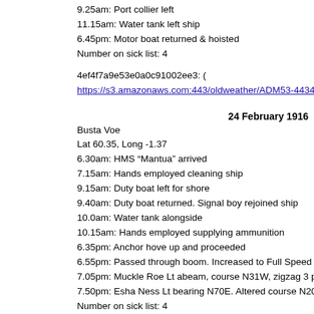9.25am: Port collier left
11.15am: Water tank left ship
6.45pm: Motor boat returned & hoisted
Number on sick list: 4
4ef4f7a9e53e0a0c91002ee3: ( https://s3.amazonaws.com:443/oldweather/ADM53-44344/ADM 53-44...
24 February 1916
Busta Voe
Lat 60.35, Long -1.37
6.30am: HMS “Mantua” arrived
7.15am: Hands employed cleaning ship
9.15am: Duty boat left for shore
9.40am: Duty boat returned. Signal boy rejoined ship
10.0am: Water tank alongside
10.15am: Hands employed supplying ammunition
6.35pm: Anchor hove up and proceeded
6.55pm: Passed through boom. Increased to Full Speed
7.05pm: Muckle Roe Lt abeam, course N31W, zigzag 3 points every 5
7.50pm: Esha Ness Lt bearing N70E. Altered course N20W, log 10.5,
Number on sick list: 4
4ef4f7a9e53e0a0c91002ee4: ( https://s3.amazonaws.com:443/oldweather/ADM53-44344/ADM 53-44...
25 February 1916
At Sea
Lat 60.98, Long -7.83
0.30am: Altered course N71W, zigzag 3 points every 10 minutes, log...